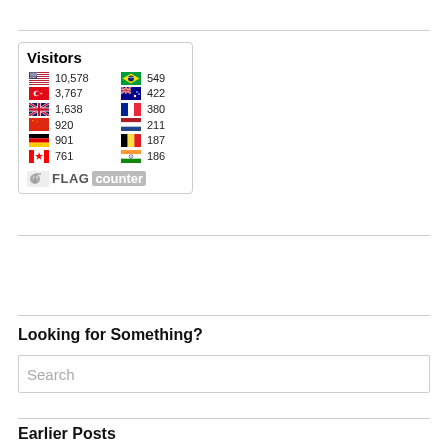[Figure (infographic): Flag Counter widget showing Visitors count by country. Left column: US 10,578 | Turkey 3,767 | UK 1,638 | China 920 | Germany 901 | Canada 761. Right column: Brazil 549 | Australia 422 | France 380 | Netherlands 211 | Belgium 187 | India 186. FLAG counter logo at bottom.]
Looking for Something?
Search
Earlier Posts